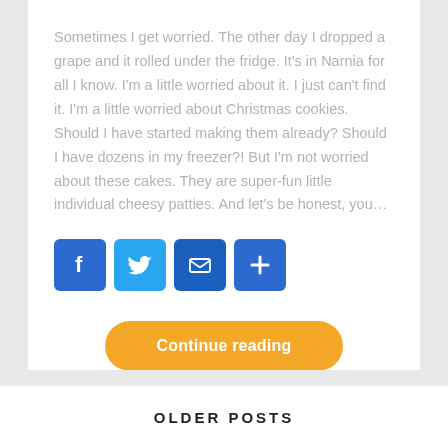Sometimes I get worried. The other day I dropped a grape and it rolled under the fridge. It's in Narnia for all I know. I'm a little worried about it. I just can't find it. I'm a little worried about Christmas cookies. Should I have started making them already? Should I have dozens in my freezer?! But I'm not worried about these cakes. They are super-fun little individual cheesy patties. And let's be honest, you…
[Figure (infographic): Four social sharing buttons: Facebook (blue with F icon), Twitter (light blue with bird icon), Email (dark blue with envelope icon), Share/More (blue with plus icon)]
Continue reading
OLDER POSTS